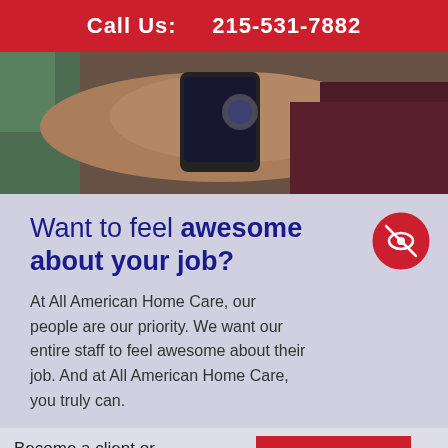Call Us:   215-531-7882
[Figure (photo): Close-up photo of a person's hands holding a smartphone, with someone in a dark maroon top visible in background]
Want to feel awesome about your job?
At All American Home Care, our people are our priority. We want our entire staff to feel awesome about their job. And at All American Home Care, you truly can.
Become a client or become a caregiver
START NOW